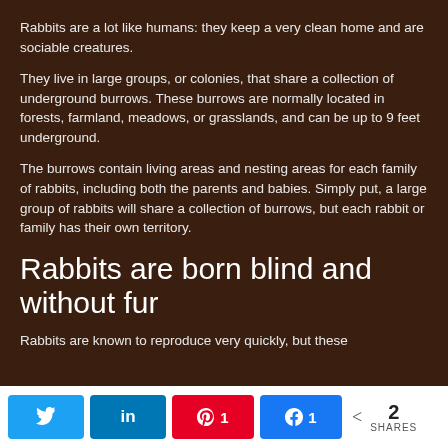Rabbits are a lot like humans: they keep a very clean home and are sociable creatures.
They live in large groups, or colonies, that share a collection of underground burrows. These burrows are normally located in forests, farmland, meadows, or grasslands, and can be up to 9 feet underground.
The burrows contain living areas and nesting areas for each family of rabbits, including both the parents and babies. Simply put, a large group of rabbits will share a collection of burrows, but each rabbit or family has their own territory.
Rabbits are born blind and without fur
Rabbits are known to reproduce very quickly, but these
Twitter share | LinkedIn share | Pinterest 1 | Facebook share 1 | Share 2 SHARES